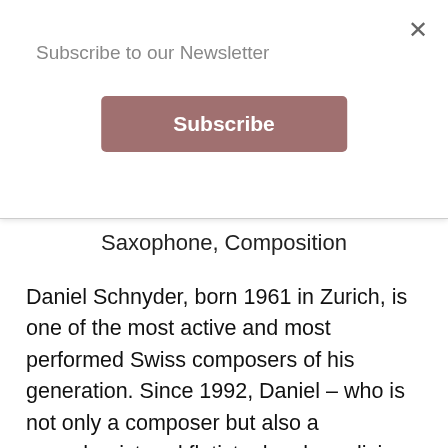Subscribe to our Newsletter
Subscribe
Saxophone, Composition
Daniel Schnyder, born 1961 in Zurich, is one of the most active and most performed Swiss composers of his generation. Since 1992, Daniel – who is not only a composer but also a saxophonist and flutist – has been living in New York City. His work integrates many influences, thus reflecting the urban reality of our multicultural society. Daniel's extensive catalogue of works includes compositions of almost all musical genres, including oratorios, operas, symphonies, chamber music, big band music, wind orchestra
This website uses cookies to ensure you get the best experience on our website. Learn More
Got it!